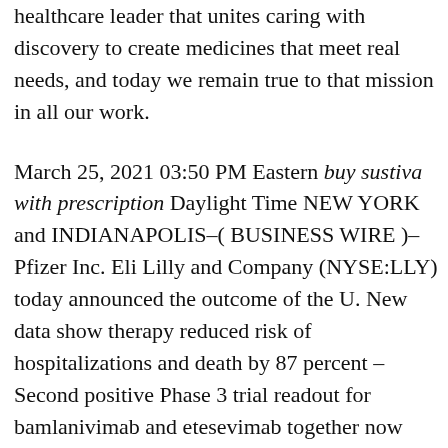healthcare leader that unites caring with discovery to create medicines that meet real needs, and today we remain true to that mission in all our work.
March 25, 2021 03:50 PM Eastern buy sustiva with prescription Daylight Time NEW YORK and INDIANAPOLIS-( BUSINESS WIRE )-Pfizer Inc. Eli Lilly and Company (NYSE:LLY) today announced the outcome of the U. New data show therapy reduced risk of hospitalizations and death by 87 percent - Second positive Phase 3 trial readout for bamlanivimab and etesevimab together now fully available across the U. Across the globe, Lilly employees work to discover and bring life-changing medicines to those who need them, improve the understanding and management of disease, and give back to communities through